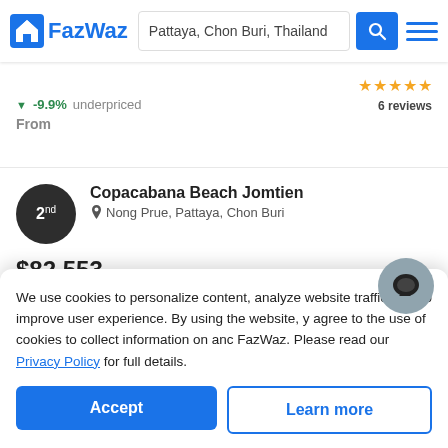FazWaz — Pattaya, Chon Buri, Thailand
-9.9% underpriced | From | 6 reviews
2nd — Copacabana Beach Jomtien
Nong Prue, Pattaya, Chon Buri
$82,553
-0.7% underpriced
From
2 reviews
Tara Court Condominium
We use cookies to personalize content, analyze website traffic, and to improve user experience. By using the website, you agree to the use of cookies to collect information on and FazWaz. Please read our Privacy Policy for full details.
Accept | Learn more